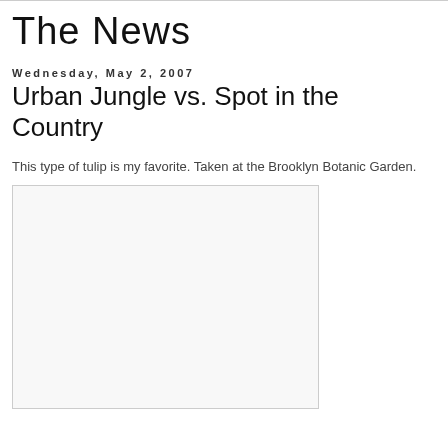The News
Wednesday, May 2, 2007
Urban Jungle vs. Spot in the Country
This type of tulip is my favorite. Taken at the Brooklyn Botanic Garden.
[Figure (photo): A blank/white image placeholder with a light border, representing a photo taken at the Brooklyn Botanic Garden.]